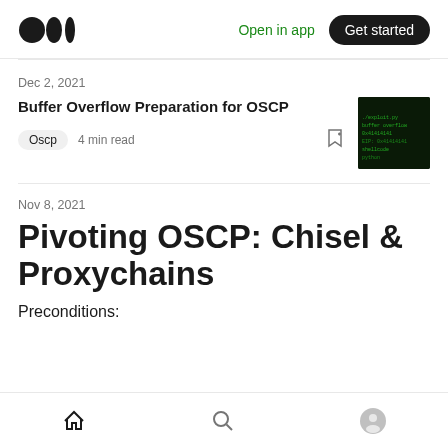Medium logo | Open in app | Get started
Dec 2, 2021
Buffer Overflow Preparation for OSCP
Oscp  4 min read
[Figure (screenshot): Dark terminal/code screenshot thumbnail]
Nov 8, 2021
Pivoting OSCP: Chisel & Proxychains
Preconditions:
Home | Search | Profile navigation icons